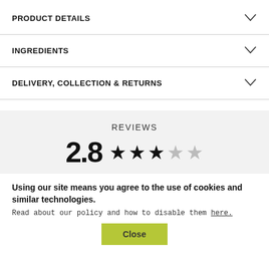PRODUCT DETAILS
INGREDIENTS
DELIVERY, COLLECTION & RETURNS
REVIEWS
2.8 ★★★☆☆
Using our site means you agree to the use of cookies and similar technologies.
Read about our policy and how to disable them here.
Close